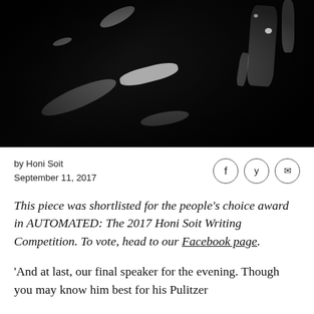[Figure (photo): Black and white abstract photograph, mostly dark with bright highlights and reflective surfaces suggesting metallic or glass objects]
by Honi Soit
September 11, 2017
This piece was shortlisted for the people's choice award in AUTOMATED: The 2017 Honi Soit Writing Competition. To vote, head to our Facebook page.
'And at last, our final speaker for the evening. Though you may know him best for his Pulitzer